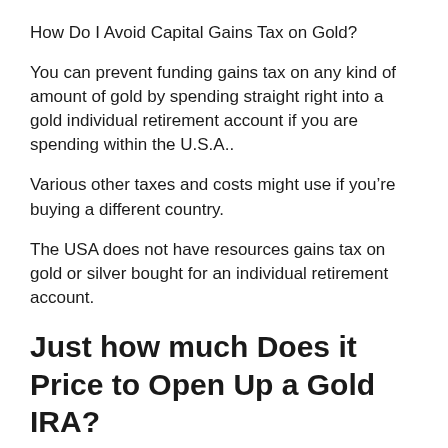How Do I Avoid Capital Gains Tax on Gold?
You can prevent funding gains tax on any kind of amount of gold by spending straight right into a gold individual retirement account if you are spending within the U.S.A..
Various other taxes and costs might use if you’re buying a different country.
The USA does not have resources gains tax on gold or silver bought for an individual retirement account.
Just how much Does it Price to Open Up a Gold IRA?